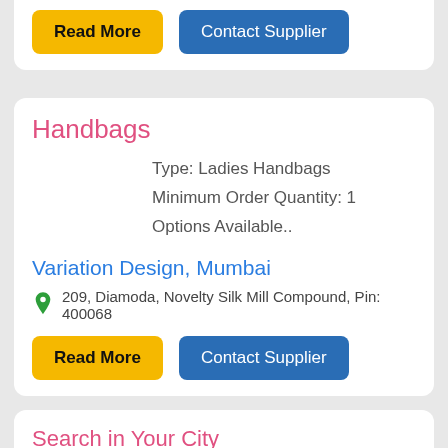Read More | Contact Supplier (top card buttons)
Handbags
Type: Ladies Handbags
Minimum Order Quantity: 1
Options Available..
Variation Design, Mumbai
209, Diamoda, Novelty Silk Mill Compound, Pin: 400068
Read More | Contact Supplier (bottom buttons)
Search in Your City
Kolkata   Chennai